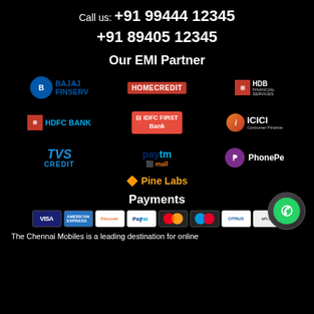Call us: +91 99444 12345
+91 89405 12345
Our EMI Partner
[Figure (logo): EMI partner logos: Bajaj Finserv, Home Credit, HDB Financial Services, HDFC Bank, IDFC First Bank, ICICI Consumer Finance, TVS Credit, Paytm Mall, PhonePe, Pine Labs]
Payments
[Figure (logo): Payment method logos: Visa, American Express, Discover, PayPal, Mastercard, Maestro, Cirrus, Apple Pay / Diner]
The Chennai Mobiles is a leading destination for online